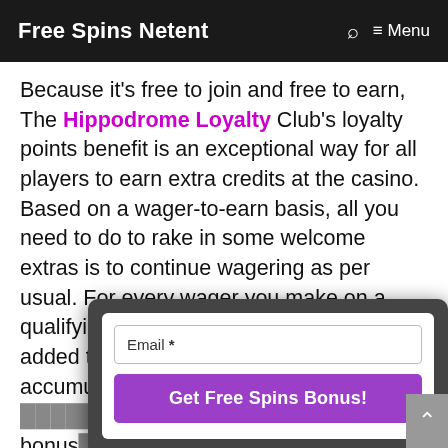Free Spins Netent | Search | Menu
Because it's free to join and free to earn, The Hippodrome Loyalty Club's loyalty points benefit is an exceptional way for all players to earn extra credits at the casino. Based on a wager-to-earn basis, all you need to do to rake in some welcome extras is to continue wagering as per usual. For every wager you make on a qualifying game, loyalty points will be added to your balance. These continue accumulating until such time as you can [obscured] bonus [obscured] benefit [obscured] program [obscured] tier and m[obscured] ra 90% ea[obscured] alty points, almost
[Figure (screenshot): A popup modal with an Email field labeled 'Email *' and a purple button reading 'Get Free Spins Bonus!']